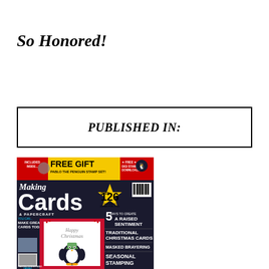So Honored!
PUBLISHED IN:
[Figure (illustration): Magazine cover of 'Making Cards & Papercraft' featuring a Christmas theme with a penguin stamp card, free gift offer for Pablo the Penguin Stamp Set, over 126 inspiring ideas, 5 ways to create a raised sentiment, Traditional Christmas Cards, Masked Brayering, and Seasonal Stamping features.]